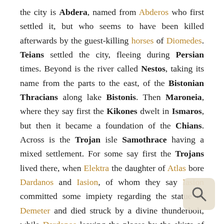the city is Abdera, named from Abderos who first settled it, but who seems to have been killed afterwards by the guest-killing horses of Diomedes. Teians settled the city, fleeing during Persian times. Beyond is the river called Nestos, taking its name from the parts to the east, of the Bistonian Thracians along lake Bistonis. Then Maroneia, where they say first the Kikones dwelt in Ismaros, but then it became a foundation of the Chians. Across is the Trojan isle Samothrace having a mixed settlement. For some say first the Trojans lived there, when Elektra the daughter of Atlas bore Dardanos and Iasion, of whom they say Iasion committed some impiety regarding the statue of Demeter and died struck by a divine thunderbolt, while Dardanos leaving the places by the skirts of Ida founded a city Dardania named for himself. The Samothracians then, though indeed Trojan by race, took on the epithet Thracians from the place and abide in the place out of piety. And once when there was